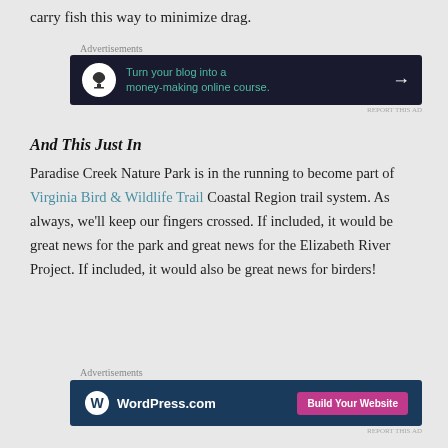carry fish this way to minimize drag.
Advertisements
[Figure (other): Advertisement banner: dark navy background with tree icon in white circle, teal text reading 'Turn your blog into a money-making online course.' with white arrow]
And This Just In
Paradise Creek Nature Park is in the running to become part of Virginia Bird & Wildlife Trail Coastal Region trail system. As always, we'll keep our fingers crossed. If included, it would be great news for the park and great news for the Elizabeth River Project. If included, it would also be great news for birders!
Advertisements
[Figure (other): WordPress.com advertisement banner: dark blue background with WordPress logo and 'WordPress.com' text, pink 'Build Your Website' button on right]